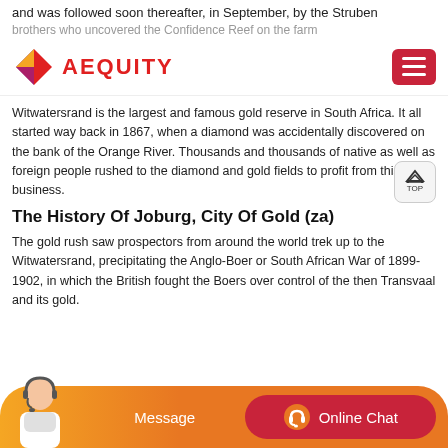and was followed soon thereafter, in September, by the Struben brothers who uncovered the Confidence Reef on the farm
[Figure (logo): Aequity logo with geometric diamond shape in red and purple, with the text AEQUITY in red bold letters]
Witwatersrand is the largest and famous gold reserve in South Africa. It all started way back in 1867, when a diamond was accidentally discovered on the bank of the Orange River. Thousands and thousands of native as well as foreign people rushed to the diamond and gold fields to profit from this business.
The History Of Joburg, City Of Gold (za)
The gold rush saw prospectors from around the world trek up to the Witwatersrand, precipitating the Anglo-Boer or South African War of 1899-1902, in which the British fought the Boers over control of the then Transvaal and its gold.
[Figure (infographic): Orange chat bar at the bottom with a customer service representative image, Message button and Online Chat button]